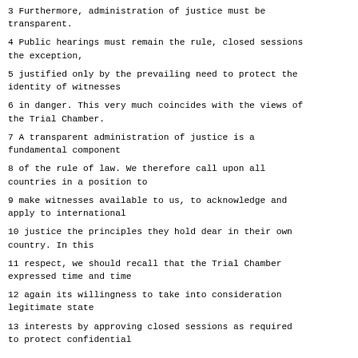3 Furthermore, administration of justice must be transparent.
4 Public hearings must remain the rule, closed sessions the exception,
5 justified only by the prevailing need to protect the identity of witnesses
6 in danger. This very much coincides with the views of the Trial Chamber.
7 A transparent administration of justice is a fundamental component
8 of the rule of law. We therefore call upon all countries in a position to
9 make witnesses available to us, to acknowledge and apply to international
10 justice the principles they hold dear in their own country. In this
11 respect, we should recall that the Trial Chamber expressed time and time
12 again its willingness to take into consideration legitimate state
13 interests by approving closed sessions as required to protect confidential